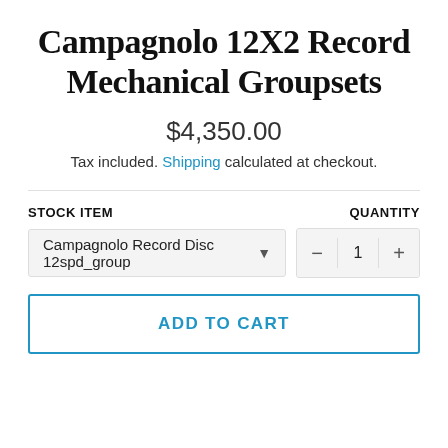Campagnolo 12X2 Record Mechanical Groupsets
$4,350.00
Tax included. Shipping calculated at checkout.
STOCK ITEM   QUANTITY
Campagnolo Record Disc 12spd_group   1
ADD TO CART